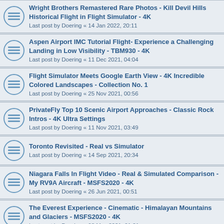Wright Brothers Remastered Rare Photos - Kill Devil Hills Historical Flight in Flight Simulator - 4K
Last post by Doering « 14 Jan 2022, 20:11
Aspen Airport IMC Tutorial Flight- Experience a Challenging Landing in Low Visibility - TBM930 - 4K
Last post by Doering « 11 Dec 2021, 04:04
Flight Simulator Meets Google Earth View - 4K Incredible Colored Landscapes - Collection No. 1
Last post by Doering « 25 Nov 2021, 00:56
PrivateFly Top 10 Scenic Airport Approaches - Classic Rock Intros - 4K Ultra Settings
Last post by Doering « 11 Nov 2021, 03:49
Toronto Revisited - Real vs Simulator
Last post by Doering « 14 Sep 2021, 20:34
Niagara Falls In Flight Video - Real & Simulated Comparison - My RV9A Aircraft - MSFS2020 - 4K
Last post by Doering « 26 Jun 2021, 00:51
The Everest Experience - Cinematic - Himalayan Mountains and Glaciers - MSFS2020 - 4K
Last post by Doering « 08 May 2021, 01:21
The Everest Experience - Trailer - MSFS2020 - 4K - Full Video Premieres May 5, 2021
Last post by Doering « 22 Apr 2021, 23:23
Aerosoft CRJ plus Bombardier History